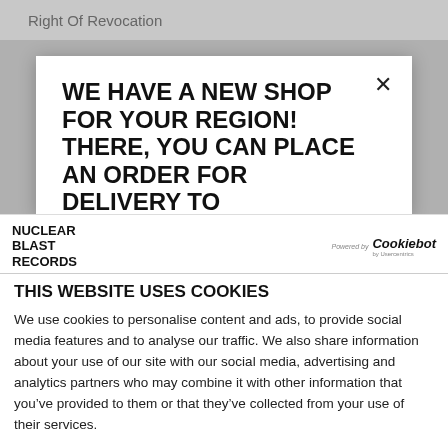Right Of Revocation
WE HAVE A NEW SHOP FOR YOUR REGION! THERE, YOU CAN PLACE AN ORDER FOR DELIVERY TO
THIS WEBSITE USES COOKIES
We use cookies to personalise content and ads, to provide social media features and to analyse our traffic. We also share information about your use of our site with our social media, advertising and analytics partners who may combine it with other information that you've provided to them or that they've collected from your use of their services.